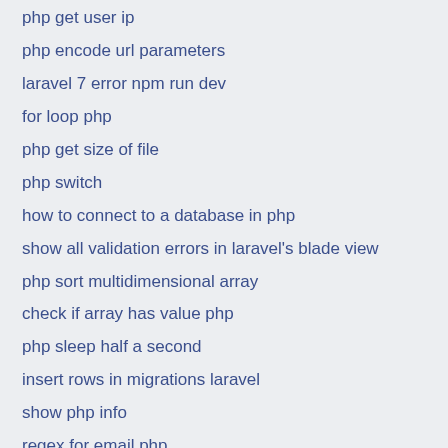php get user ip
php encode url parameters
laravel 7 error npm run dev
for loop php
php get size of file
php switch
how to connect to a database in php
show all validation errors in laravel's blade view
php sort multidimensional array
check if array has value php
php sleep half a second
insert rows in migrations laravel
show php info
regex for email php